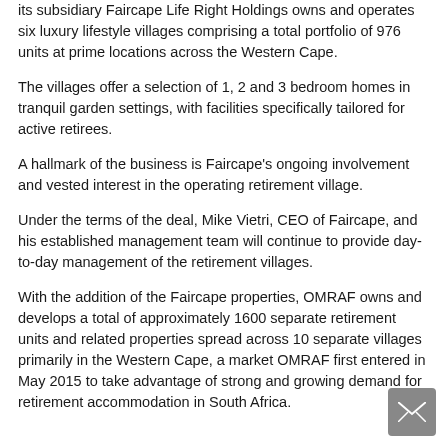its subsidiary Faircape Life Right Holdings owns and operates six luxury lifestyle villages comprising a total portfolio of 976 units at prime locations across the Western Cape.
The villages offer a selection of 1, 2 and 3 bedroom homes in tranquil garden settings, with facilities specifically tailored for active retirees.
A hallmark of the business is Faircape's ongoing involvement and vested interest in the operating retirement village.
Under the terms of the deal, Mike Vietri, CEO of Faircape, and his established management team will continue to provide day-to-day management of the retirement villages.
With the addition of the Faircape properties, OMRAF owns and develops a total of approximately 1600 separate retirement units and related properties spread across 10 separate villages primarily in the Western Cape, a market OMRAF first entered in May 2015 to take advantage of strong and growing demand for retirement accommodation in South Africa.